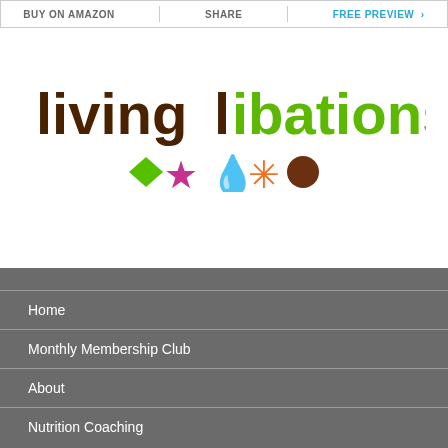BUY ON AMAZON | SHARE | FREE PREVIEW >
[Figure (logo): Living Libations logo with colorful text and decorative icons (diamond, star, water drop, sun/asterisk, circle)]
Home
Monthly Membership Club
About
Nutrition Coaching